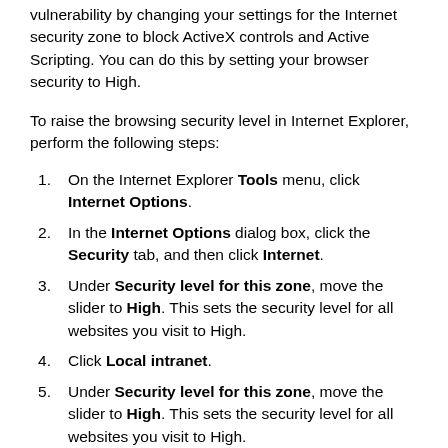Vulnerability by changing your settings for the Internet security zone to block ActiveX controls and Active Scripting. You can do this by setting your browser security to High.
To raise the browsing security level in Internet Explorer, perform the following steps:
On the Internet Explorer Tools menu, click Internet Options.
In the Internet Options dialog box, click the Security tab, and then click Internet.
Under Security level for this zone, move the slider to High. This sets the security level for all websites you visit to High.
Click Local intranet.
Under Security level for this zone, move the slider to High. This sets the security level for all websites you visit to High.